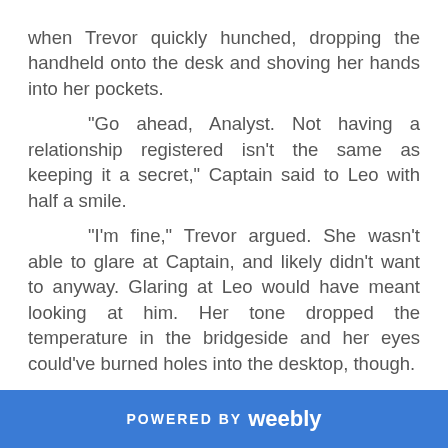when Trevor quickly hunched, dropping the handheld onto the desk and shoving her hands into her pockets.

"Go ahead, Analyst. Not having a relationship registered isn't the same as keeping it a secret," Captain said to Leo with half a smile.

"I'm fine," Trevor argued. She wasn't able to glare at Captain, and likely didn't want to anyway. Glaring at Leo would have meant looking at him. Her tone dropped the temperature in the bridgeside and her eyes could've burned holes into the desktop, though.

"Really? You're fine?" Captain asked, dropping sarcasm like tossing lead-acid batteries into low orbit. "Say 'planet seventy-four' without clenching a fist," she added. "Your behavior the past month has been noted and for the past two weeks flagged as out of normal for you, Analyst. Both by monthly mental health reviews and by crew observations."
POWERED BY weebly